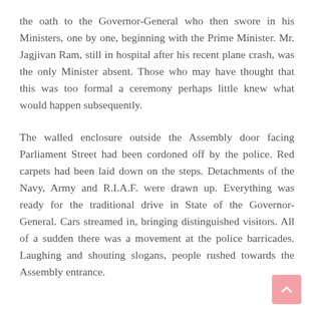the oath to the Governor-General who then swore in his Ministers, one by one, beginning with the Prime Minister. Mr. Jagjivan Ram, still in hospital after his recent plane crash, was the only Minister absent. Those who may have thought that this was too formal a ceremony perhaps little knew what would happen subsequently.
The walled enclosure outside the Assembly door facing Parliament Street had been cordoned off by the police. Red carpets had been laid down on the steps. Detachments of the Navy, Army and R.I.A.F. were drawn up. Everything was ready for the traditional drive in State of the Governor-General. Cars streamed in, bringing distinguished visitors. All of a sudden there was a movement at the police barricades. Laughing and shouting slogans, people rushed towards the Assembly entrance.